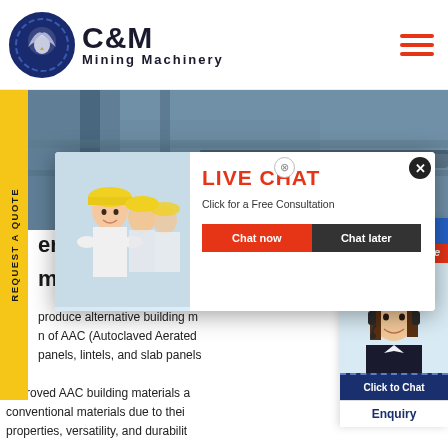[Figure (logo): C&M Mining Machinery logo with eagle/gear icon in dark blue circle, company name in bold black text]
[Figure (photo): Industrial mining machinery/conveyor background hero image, workers in yellow hard hats]
[Figure (screenshot): Live Chat popup overlay with worker photo, red LIVE CHAT heading, Chat now and Chat later buttons]
[Figure (photo): Right side chat widget showing Hours Online banner in blue and red, female customer service rep with headset, Click to Chat button]
REQUEST A QUOTE
ernat
m of
produce alternative building m n of AAC (Autoclaved Aerated  panels, lintels, and slab panels
approved AAC building materials a conventional materials due to thei properties, versatility, and durabilit